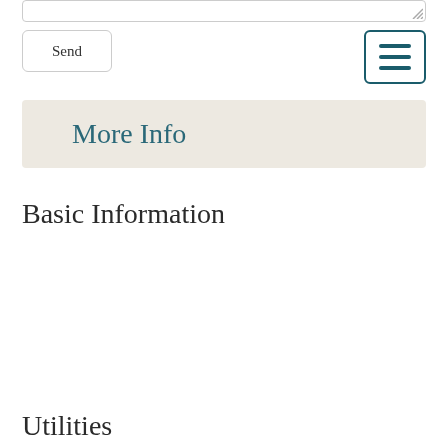Send
More Info
Basic Information
| Field | Value |
| --- | --- |
| Date Listed | 05/14/2021 |
| Status | ACT |
| List Price | $249,000 |
| MLS Number | 4860854 |
| MLS Status | Active |
Utilities